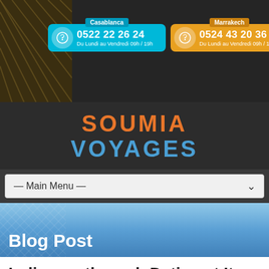[Figure (screenshot): Website header with two phone contact boxes: Casablanca (0522 22 26 24) and Marrakech (0524 43 20 36), both showing hours Du Lundi au Vendredi 09h / 19h, on a dark background with lattice pattern]
SOUMIA VOYAGES
— Main Menu —
Blog Post
Indian on the web Dating at Its Best! An Indian Dating Site th… Unites Singles of Indian Origin